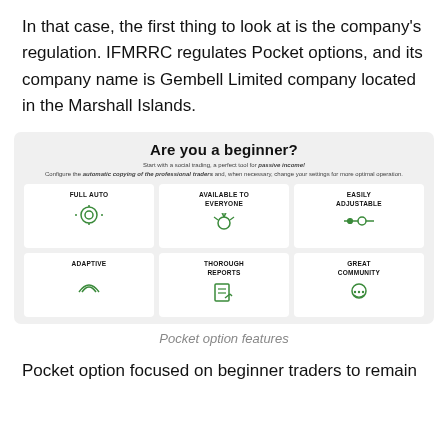In that case, the first thing to look at is the company's regulation. IFMRRC regulates Pocket options, and its company name is Gembell Limited company located in the Marshall Islands.
[Figure (infographic): Pocket option features infographic showing 'Are you a beginner?' with 6 feature boxes: Full Auto, Available to Everyone, Easily Adjustable, Adaptive, Thorough Reports, Great Community — each with a green icon.]
Pocket option features
Pocket option focused on beginner traders to remain